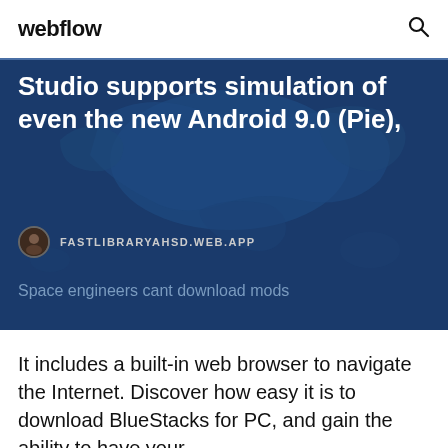webflow
[Figure (screenshot): Hero banner with dark blue background and world map silhouette. Contains heading text 'Studio supports simulation of even the new Android 9.0 (Pie),' with a source row showing an avatar and 'FASTLIBRARYAHSD.WEB.APP' and subtext 'Space engineers cant download mods']
It includes a built-in web browser to navigate the Internet. Discover how easy it is to download BlueStacks for PC, and gain the ability to have your